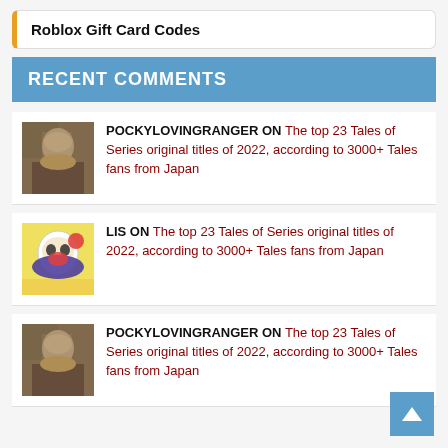Roblox Gift Card Codes
RECENT COMMENTS
POCKYLOVINGRANGER ON The top 23 Tales of Series original titles of 2022, according to 3000+ Tales fans from Japan
LIS ON The top 23 Tales of Series original titles of 2022, according to 3000+ Tales fans from Japan
POCKYLOVINGRANGER ON The top 23 Tales of Series original titles of 2022, according to 3000+ Tales fans from Japan